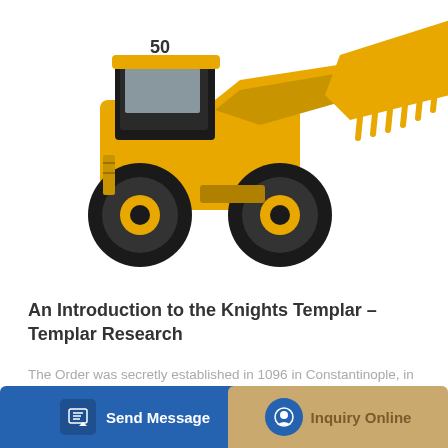[Figure (photo): A large yellow wheel loader (front-end loader) with the number 50 on the cab, shown at an angle with the bucket raised and tilted forward, against a white background.]
An Introduction to the Knights Templar – Templar Research
The Order was secretly established in 1096 in Constantinople, in preparation for an official public announcement in 1118 A.D. The Order was established...